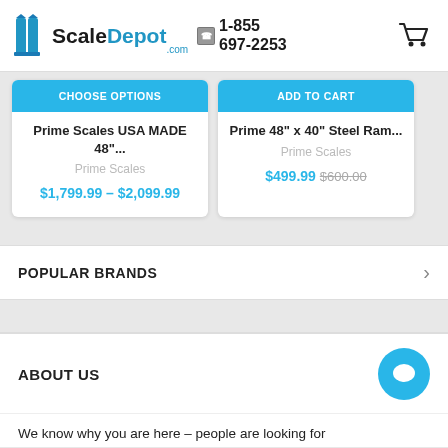ScaleDepot.com 1-855 697-2253
CHOOSE OPTIONS
ADD TO CART
Prime Scales USA MADE 48"...
Prime Scales
$1,799.99 - $2,099.99
Prime 48" x 40" Steel Ram...
Prime Scales
$499.99  $600.00
POPULAR BRANDS
ABOUT US
We know why you are here – people are looking for